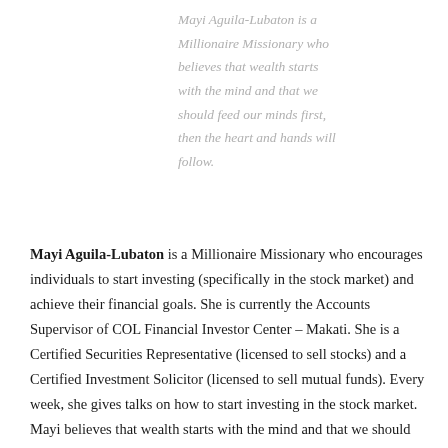Mayi Aguila-Lubaton is a Millionaire Missionary who believes that wealth starts with the mind and that we should feed our minds first, then the heart and hands will follow.
Mayi Aguila-Lubaton is a Millionaire Missionary who encourages individuals to start investing (specifically in the stock market) and achieve their financial goals. She is currently the Accounts Supervisor of COL Financial Investor Center – Makati. She is a Certified Securities Representative (licensed to sell stocks) and a Certified Investment Solicitor (licensed to sell mutual funds). Every week, she gives talks on how to start investing in the stock market. Mayi believes that wealth starts with the mind and that we should feed our minds first, then the heart and hands will follow.